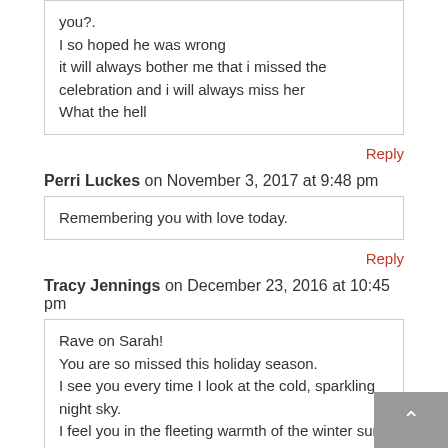you?.
I so hoped he was wrong
it will always bother me that i missed the celebration and i will always miss her
What the hell
Reply
Perri Luckes on November 3, 2017 at 9:48 pm
Remembering you with love today.
Reply
Tracy Jennings on December 23, 2016 at 10:45 pm
Rave on Sarah!
You are so missed this holiday season.
I see you every time I look at the cold, sparkling night sky.
I feel you in the fleeting warmth of the winter sun on my